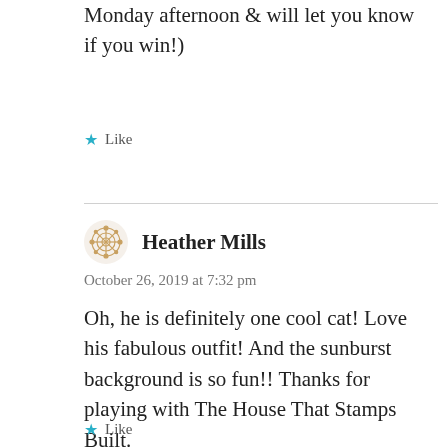Monday afternoon & will let you know if you win!)
Like
Heather Mills
October 26, 2019 at 7:32 pm
Oh, he is definitely one cool cat! Love his fabulous outfit! And the sunburst background is so fun!! Thanks for playing with The House That Stamps Built.
Like